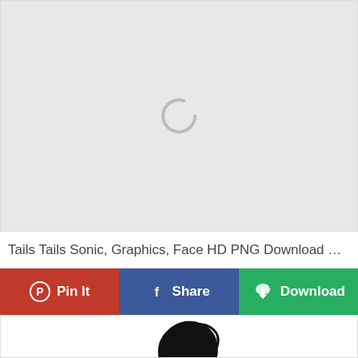[Figure (screenshot): Loading placeholder — light gray rectangle with a circular loading spinner icon in the upper-center area]
Tails Tails Sonic, Graphics, Face HD PNG Download St...
Pin It | Share | Download
[Figure (illustration): Partial black silhouette illustration of an animal or character tail/claw visible at bottom of page]